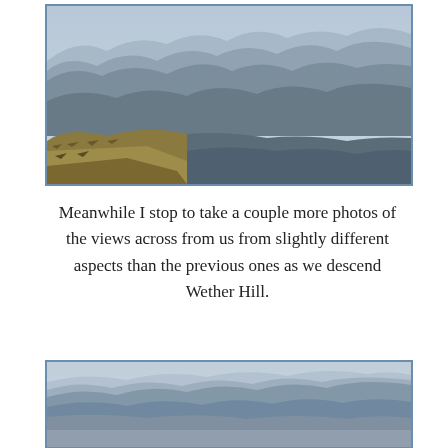[Figure (photo): Panoramic landscape photo showing rolling hills and mountains. In the foreground is a golden-brown grassy hillside slope descending from lower left. The middle and background show a series of grey-blue mountain ridges layered into the distance under a hazy pale blue-grey sky.]
Meanwhile I stop to take a couple more photos of the views across from us from slightly different aspects than the previous ones as we descend Wether Hill.
[Figure (photo): Panoramic landscape photo showing hazy layered mountain ridges receding into the distance under a pale blue-grey sky. The mountains appear in shades of blue-grey with atmospheric haze creating depth.]